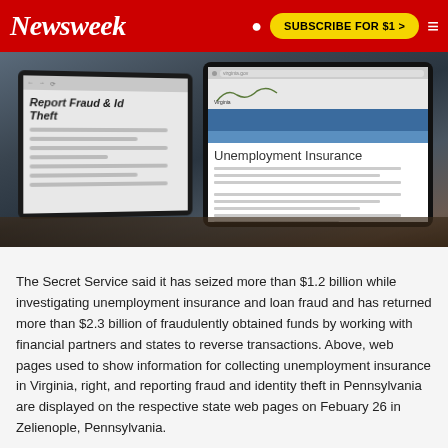Newsweek | SUBSCRIBE FOR $1 >
[Figure (photo): Two tablets on a desk showing state web pages — left tablet shows Pennsylvania 'Report Fraud & Identity Theft' page, right tablet shows Virginia 'Unemployment Insurance' page. Dark background with books underneath the devices.]
The Secret Service said it has seized more than $1.2 billion while investigating unemployment insurance and loan fraud and has returned more than $2.3 billion of fraudulently obtained funds by working with financial partners and states to reverse transactions. Above, web pages used to show information for collecting unemployment insurance in Virginia, right, and reporting fraud and identity theft in Pennsylvania are displayed on the respective state web pages on Febuary 26 in Zelienople, Pennsylvania.